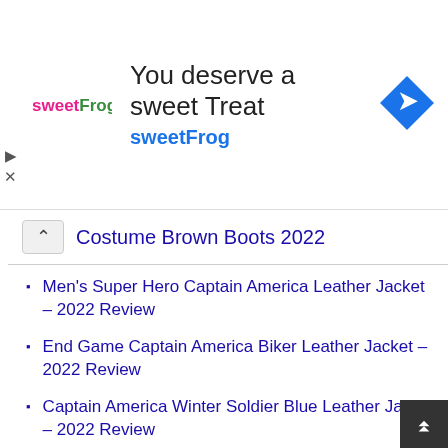[Figure (screenshot): sweetFrog advertisement banner with logo, text 'You deserve a sweet Treat', 'sweetFrog', and a navigation icon on the right]
Costume Brown Boots 2022
Men's Super Hero Captain America Leather Jacket – 2022 Review
End Game Captain America Biker Leather Jacket – 2022 Review
Captain America Winter Soldier Blue Leather Jacket – 2022 Review
Steve Rogers Infinity War Avengers Captain America Jacket – 2022 Review
Coolhides Captain America Winter Soldier Leather Jacket – 2022 Review
Bucky Barnes Genuine Captain America Winter Soldier Leather Jacket 2022
Twin Size Bed Frame Wood Platform with Headboard – 2022 Review